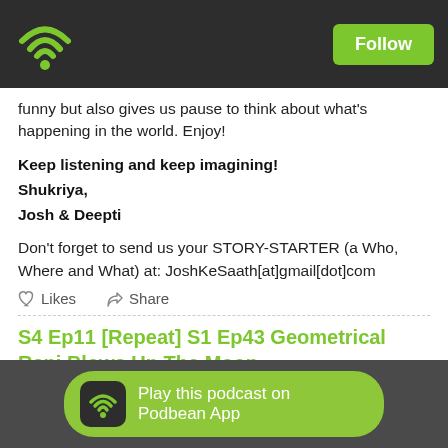Podbean — Follow
funny but also gives us pause to think about what's happening in the world. Enjoy!
Keep listening and keep imagining!
Shukriya,
Josh & Deepti
Don't forget to send us your STORY-STARTER (a Who, Where and What) at: JoshKeSaath[at]gmail[dot]com
Likes  Share
S4 Ep11 [Repeat] S1 Ep43 Geometrical Rani Blows Up The Moon
[Figure (other): Play this podcast on Podbean App button]
Play this podcast on Podbean App